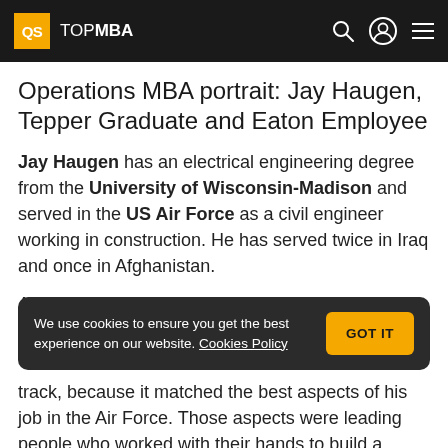QS TOPMBA
Operations MBA portrait: Jay Haugen, Tepper Graduate and Eaton Employee
Jay Haugen has an electrical engineering degree from the University of Wisconsin-Madison and served in the US Air Force as a civil engineer working in construction. He has served twice in Iraq and once in Afghanistan.
After he left the military, Haugen says he needed track, because it matched the best aspects of his job in the Air Force. Those aspects were leading people who worked with their hands to build a
We use cookies to ensure you get the best experience on our website. Cookies Policy
GOT IT